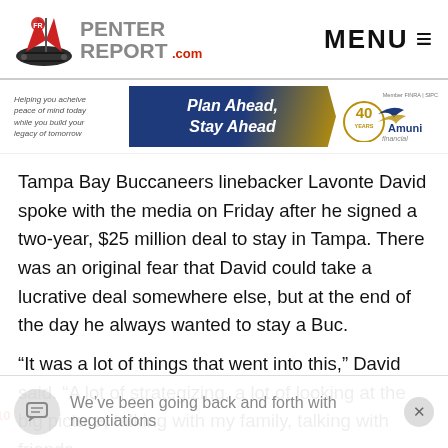PenterReport.com — MENU
[Figure (infographic): Amuni Financial advertisement banner: 'Helping you acheive peace of mind today while you build your legacy of tomorrow. Plan Ahead, Stay Ahead. 40 Years Amuni Financial. Member FINRA | SIPC.']
Tampa Bay Buccaneers linebacker Lavonte David spoke with the media on Friday after he signed a two-year, $25 million deal to stay in Tampa. There was an original fear that David could take a lucrative deal somewhere else, but at the end of the day he always wanted to stay a Buc.
“It was a lot of things that went into this,” David said. “A lot of strategizing, a lot of looking at the big picture, talking with my family, talking with friends
We’ve been going back and forth with negotiations